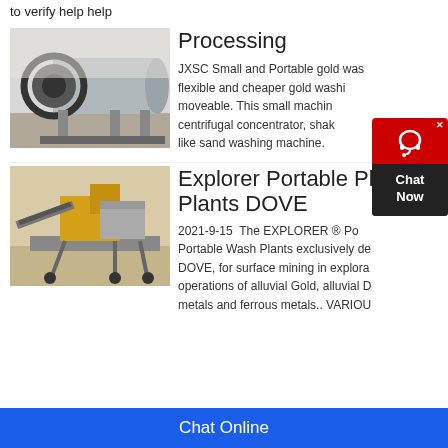to verify help help
[Figure (photo): Industrial ball mill machine, grey cylindrical drum with gear, in a warehouse setting]
Processing
JXSC Small and Portable gold wash flexible and cheaper gold washing, moveable. This small machine centrifugal concentrator, shaking table like sand washing machine.
[Figure (photo): Yellow and grey portable mining wash plant equipment outdoors in a desert/sandy environment]
Explorer Portable Plants Plants DOVE
2021-9-15  The EXPLORER ® Portable Wash Plants exclusively designed by DOVE, for surface mining in exploration operations of alluvial Gold, alluvial D metals and ferrous metals.. VARIOU
Chat Online